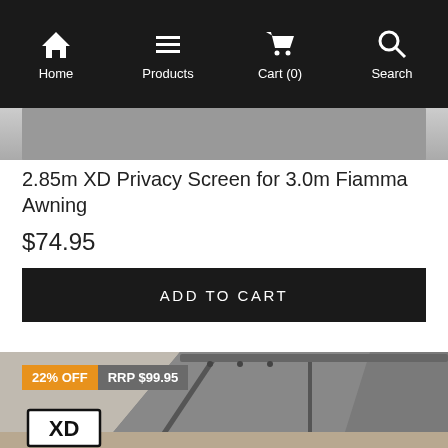Home | Products | Cart (0) | Search
[Figure (photo): Cropped top portion of a product image (privacy screen/awning), partially visible]
2.85m XD Privacy Screen for 3.0m Fiamma Awning
$74.95
ADD TO CART
[Figure (photo): Outdoor awning/privacy screen product photo showing a grey mesh screen on a metal frame arm, with XD brand logo at bottom. Overlaid with badges: 22% OFF and RRP $99.95]